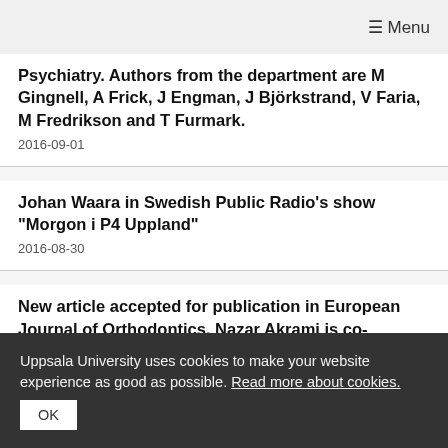≡ Menu
Psychiatry. Authors from the department are M Gingnell, A Frick, J Engman, J Björkstrand, V Faria, M Fredrikson and T Furmark.
2016-09-01
Johan Waara in Swedish Public Radio's show "Morgon i P4 Uppland"
2016-08-30
New article accepted for publication in European Journal of Orthodontics. Nazar Akrami is co-
Uppsala University uses cookies to make your website experience as good as possible. Read more about cookies.